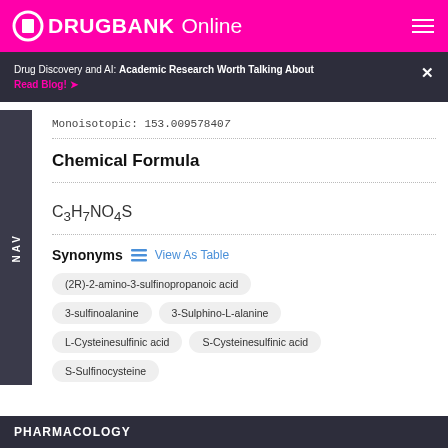DRUGBANK Online
Drug Discovery and AI: Academic Research Worth Talking About Read Blog!
Monoisotopic: 153.0095784U7
Chemical Formula
Synonyms
(2R)-2-amino-3-sulfinopropanoic acid
3-sulfinoalanine
3-Sulphino-L-alanine
L-Cysteinesulfinic acid
S-Cysteinesulfinic acid
S-Sulfinocysteine
PHARMACOLOGY